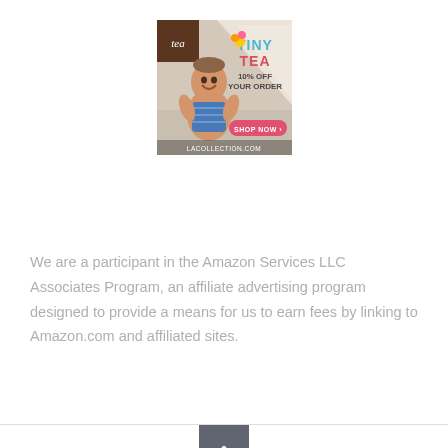[Figure (illustration): Advertisement for Tea Collection's Tiny Tea children's clothing line, featuring a smiling baby/toddler in a blue swimsuit, with text 'TINY TEA 10% OFF YOUR ORDER' and a pink 'SHOP NOW' button, and 'LACOLLECTION.COM' at the bottom. The Tea Collection logo appears in the top left corner on a brown background.]
We are a participant in the Amazon Services LLC Associates Program, an affiliate advertising program designed to provide a means for us to earn fees by linking to Amazon.com and affiliated sites.